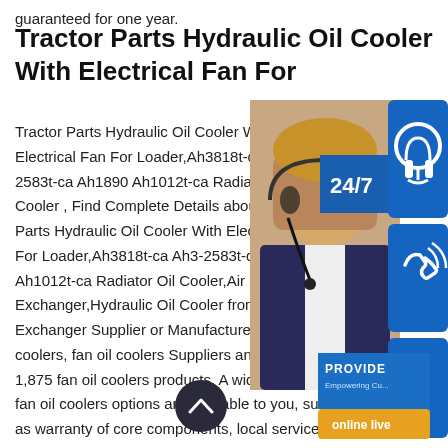guaranteed for one year.
Tractor Parts Hydraulic Oil Cooler With Electrical Fan For
Tractor Parts Hydraulic Oil Cooler With Electrical Fan For Loader,Ah3818t-ca Ah3-2583t-ca Ah1890 Ah1012t-ca Radiator Oil Cooler , Find Complete Details about Tractor Parts Hydraulic Oil Cooler With Electrical Fan For Loader,Ah3818t-ca Ah3-2583t-ca Ah1012t-ca Radiator Oil Cooler,Air C Exchanger,Hydraulic Oil Cooler from Exchanger Supplier or Manufacturer fan oil coolers, fan oil coolers Suppliers and offers 1,875 fan oil coolers products. A wide variety of fan oil coolers options are available to you, such as warranty of core components, local service location, and key selling points.
[Figure (illustration): Customer service representative overlay with 24/7 badge, headset icon, phone icon, Skype icon, PROVIDE Empowering Customers text, and orange online live button]